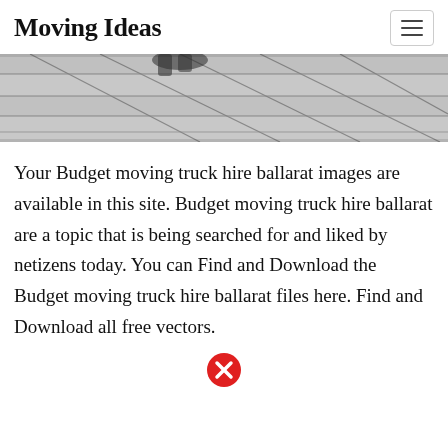Moving Ideas
[Figure (photo): Grayscale photograph of a stone or concrete tiled floor/pavement with geometric angular lines and a partial shadow of a person's legs visible at the top.]
Your Budget moving truck hire ballarat images are available in this site. Budget moving truck hire ballarat are a topic that is being searched for and liked by netizens today. You can Find and Download the Budget moving truck hire ballarat files here. Find and Download all free vectors.
[Figure (other): Red circle with a white X symbol — a close/error button icon.]